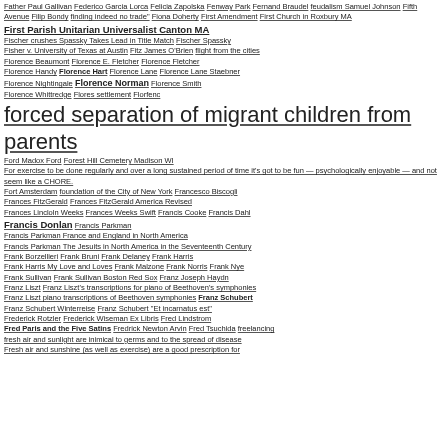Father Paul Gallivan   Federico Garcia Lorca   Felicia Zapolska   Fenway Park   Fernand Braudel   feudalism Samuel Johnson   Fifth Avenue   Filip Bondy   finding indeed no trade"   Fiona Doherty   First Amendment   First Church in Roxbury MA
First Parish Unitarian Universalist Canton MA
Fischer crushes Spassky Takes Lead in Title Match   Fischer Spassky
Fisher v. University of Texas at Austin   Fitz James O'Brien   flight from the cities
Florence Beaumont   Florence E. Fletcher   Florence Fletcher
Florence Handy   Florence Hart   Florence Lane   Florence Lane Staebner
Florence Nightingale   Florence Norman   Florence Smith
Florence Whittredge   Flores settlement   Florfenc
forced separation of migrant children from parents
Ford Madox Ford   Forest Hill Cemetery Madison WI
For exercise to be done regularly and over a long sustained period of time it's got to be fun — psychologically enjoyable — and not seem like a CHORE.
Fort Amsterdam   foundation of the City of New York   Francesco Biscogli
Frances FitzGerald   Frances FitzGerald America Revised
Frances Lincloln Weeks   Frances Weeks Swift   Francis Cooke   Francis Dahl
Francis Donlan   Francis Parkman
Francis Parkman France and England in North America
Francis Parkman The Jesuits in North America in the Seventeenth Century
Frank Borzellieri   Frank Bruni   Frank Delaney   Frank Harris
Frank Harris My Love and Loves   Frank Malzone   Frank Norris   Frank Nye
Frank Sullivan   Frank Sullivan Boston Red Sox   Franz Joseph Haydn
Franz Liszt   Franz Liszt's transcriptions for piano of Beethoven's symphonies
Franz Liszt piano transcriptions of Beethoven symphonies   Franz Schubert
Franz Schubert Winterreise   Franz Schubert "Et incarnatus est"
Frederick Rotzler   Frederick Wiseman Ex Libris   Fred Lindstrom
Fred Paris and the Five Satins   Fredrick Newton Arvin   Fred Tsuchida   freelancing
fresh air and sunlight are inimical to germs and to the spread of disease
Fresh air and sunshine (as well as exercise) are a good prescription for